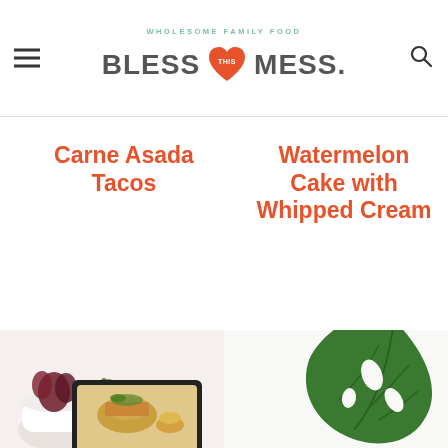WHOLESOME FAMILY FOOD | BLESS THIS MESS.
Carne Asada Tacos
Watermelon Cake with Whipped Cream
[Figure (photo): Photo of Carne Asada Tacos on a tablet, with plants in the background]
[Figure (photo): Tropical green leaf plant on white background]